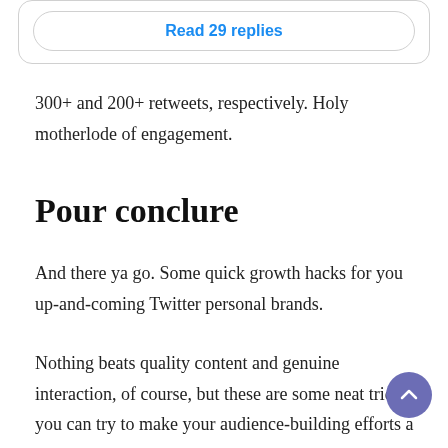[Figure (screenshot): A rounded button labeled 'Read 29 replies' in blue text on white background with light gray border]
300+ and 200+ retweets, respectively. Holy motherlode of engagement.
Pour conclure
And there ya go. Some quick growth hacks for you up-and-coming Twitter personal brands.
Nothing beats quality content and genuine interaction, of course, but these are some neat tricks you can try to make your audience-building efforts a little, let's say... breezier.